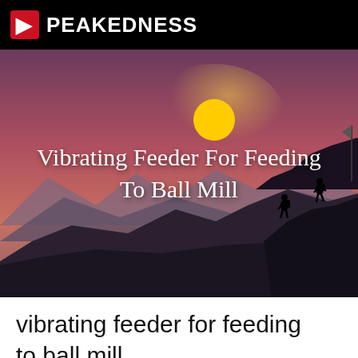PEAKEDNESS
[Figure (illustration): Hero image showing silhouettes of hikers climbing a rocky mountain peak at sunset with a large orange sun and purple/pink sky gradient, with text overlay 'Vibrating Feeder For Feeding To Ball Mill']
Vibrating Feeder For Feeding To Ball Mill
vibrating feeder for feeding to ball mill